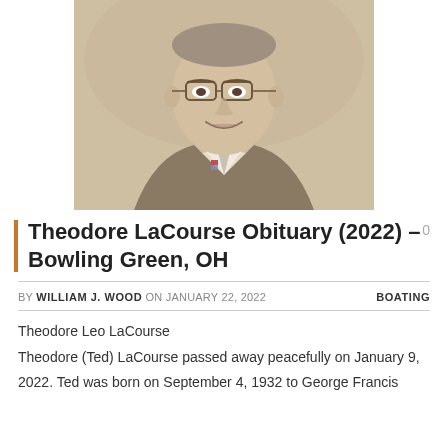[Figure (photo): Black and white / sepia portrait photo of Theodore LaCourse, a man in a suit and tie wearing glasses and a small flag lapel pin, smiling at the camera.]
Theodore LaCourse Obituary (2022) – Bowling Green, OH
BY WILLIAM J. WOOD ON JANUARY 22, 2022   BOATING
Theodore Leo LaCourse
Theodore (Ted) LaCourse passed away peacefully on January 9, 2022. Ted was born on September 4, 1932 to George Francis